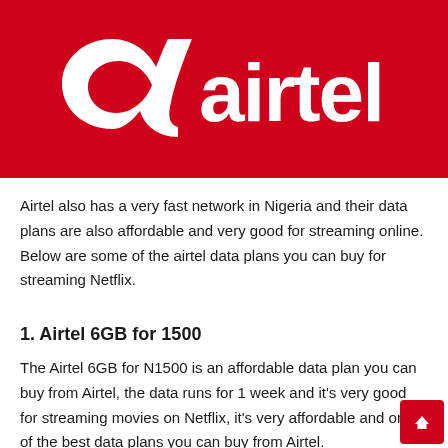[Figure (logo): Airtel logo — white stylized 'a' symbol and white 'airtel' wordmark on a red background]
Airtel also has a very fast network in Nigeria and their data plans are also affordable and very good for streaming online. Below are some of the airtel data plans you can buy for streaming Netflix.
1. Airtel 6GB for 1500
The Airtel 6GB for N1500 is an affordable data plan you can buy from Airtel, the data runs for 1 week and it's very good for streaming movies on Netflix, it's very affordable and one of the best data plans you can buy from Airtel.